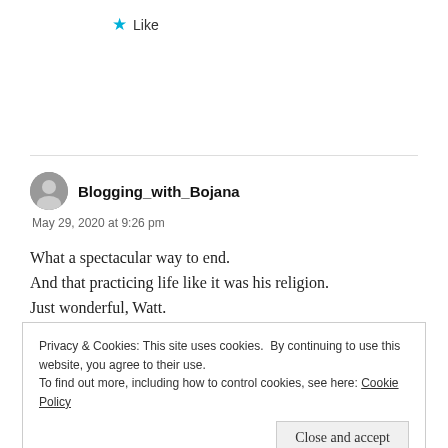★ Like
Blogging_with_Bojana
May 29, 2020 at 9:26 pm
What a spectacular way to end.
And that practicing life like it was his religion.
Just wonderful, Watt.
Privacy & Cookies: This site uses cookies. By continuing to use this website, you agree to their use.
To find out more, including how to control cookies, see here: Cookie Policy
Close and accept